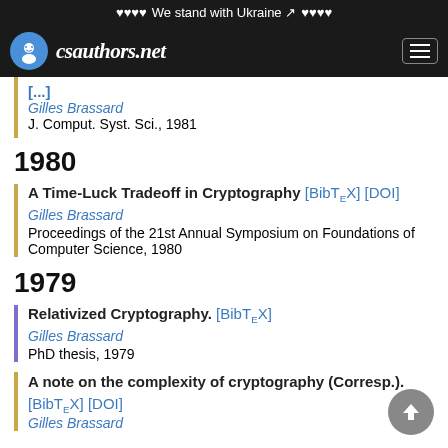We stand with Ukraine
csauthors.net
[...] Gilles Brassard J. Comput. Syst. Sci., 1981
1980
A Time-Luck Tradeoff in Cryptography [BibTeX] [DOI] Gilles Brassard Proceedings of the 21st Annual Symposium on Foundations of Computer Science, 1980
1979
Relativized Cryptography. [BibTeX] Gilles Brassard PhD thesis, 1979
A note on the complexity of cryptography (Corresp.). [BibTeX] [DOI] Gilles Brassard